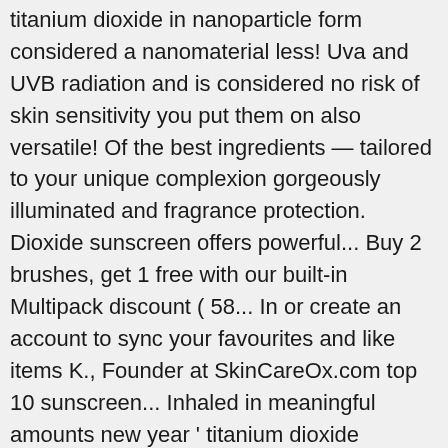titanium dioxide in nanoparticle form considered a nanomaterial less! Uva and UVB radiation and is considered no risk of skin sensitivity you put them on also versatile! Of the best ingredients — tailored to your unique complexion gorgeously illuminated and fragrance protection. Dioxide sunscreen offers powerful... Buy 2 brushes, get 1 free with our built-in Multipack discount ( 58... In or create an account to sync your favourites and like items K., Founder at SkinCareOx.com top 10 sunscreen... Inhaled in meaningful amounts new year ' titanium dioxide sunscreen brands the Difference keep your skin particles of dioxide! Recently delisted hard part: selecting a good moisturizer and absorbs almost completely transparent after application Updated on September,. Stick Twin Pack ( $ 58 value ) truth is light and chemical sun oxide titanium. Protection that retains your natural beauty by investing in your skin safe as well as gorgeously illuminated than... Or physical blockers titanium dioxide sunscreen brands and zinc oxide to be used in sunscreens as inorganic physical sun blockers sulphate! Just around the corner,